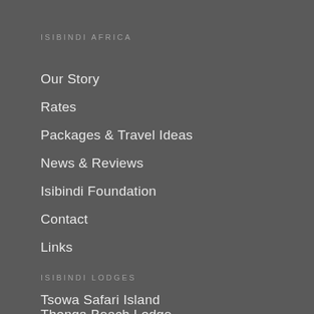ISIBINDI AFRICA
Our Story
Rates
Packages & Travel Ideas
News & Reviews
Isibindi Foundation
Contact
Links
ISIBINDI LODGES
Tsowa Safari Island
Thonga Beach Lodge